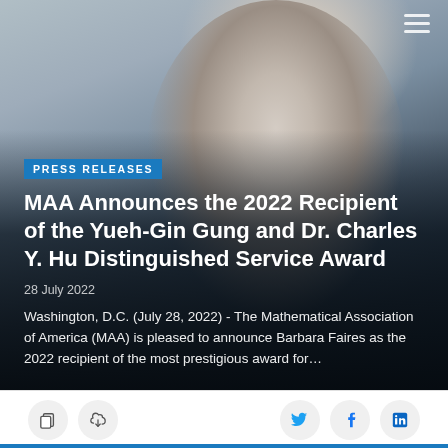[Figure (photo): Portrait photo of an older woman with white curly hair and glasses, wearing a dark top and beaded necklace, smiling. Used as hero background image for a press release page.]
PRESS RELEASES
MAA Announces the 2022 Recipient of the Yueh-Gin Gung and Dr. Charles Y. Hu Distinguished Service Award
28 July 2022
Washington, D.C. (July 28, 2022) - The Mathematical Association of America (MAA) is pleased to announce Barbara Faires as the 2022 recipient of the most prestigious award for…